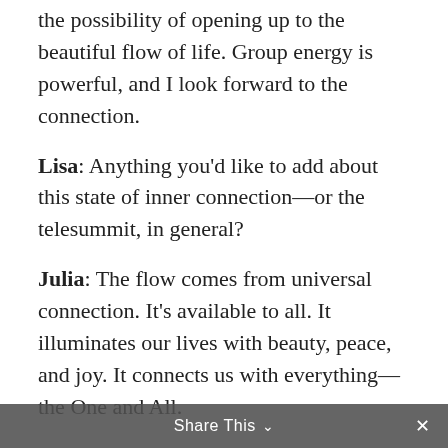the possibility of opening up to the beautiful flow of life. Group energy is powerful, and I look forward to the connection.
Lisa: Anything you'd like to add about this state of inner connection—or the telesummit, in general?
Julia: The flow comes from universal connection. It's available to all. It illuminates our lives with beauty, peace, and joy. It connects us with everything—the One and All.
We see and feel currents of energy, the light underlying everything. Everyone can experience awakening—if they want it. On a spiritual level, we say this current is
Share This ∨  ×